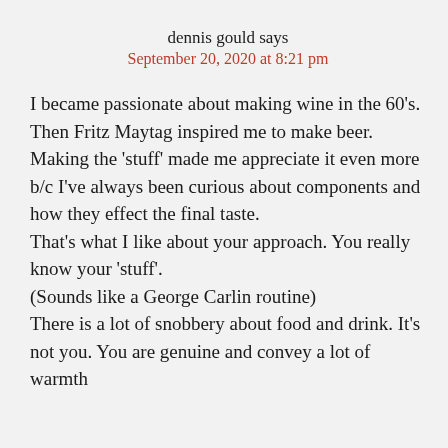dennis gould says
September 20, 2020 at 8:21 pm
I became passionate about making wine in the 60's. Then Fritz Maytag inspired me to make beer.
Making the 'stuff' made me appreciate it even more b/c I've always been curious about components and how they effect the final taste.
That's what I like about your approach. You really know your 'stuff'.
(Sounds like a George Carlin routine)
There is a lot of snobbery about food and drink. It's not you. You are genuine and convey a lot of warmth